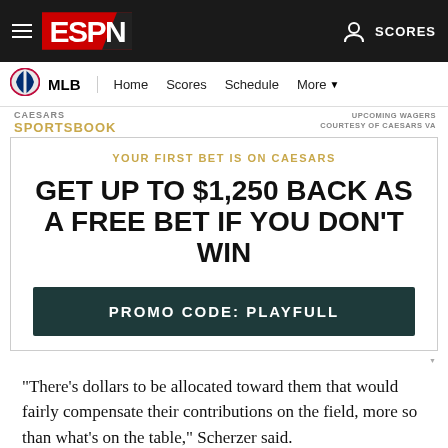[Figure (screenshot): ESPN website header navigation bar with ESPN logo, hamburger menu, and SCORES link with user icon]
[Figure (screenshot): MLB sub-navigation bar with MLB logo, Home, Scores, Schedule, More links]
[Figure (advertisement): Caesars Sportsbook advertisement: YOUR FIRST BET IS ON CAESARS, GET UP TO $1,250 BACK AS A FREE BET IF YOU DON'T WIN, PROMO CODE: PLAYFULL]
"There's dollars to be allocated toward them that would fairly compensate their contributions on the field, more so than what's on the table," Scherzer said.